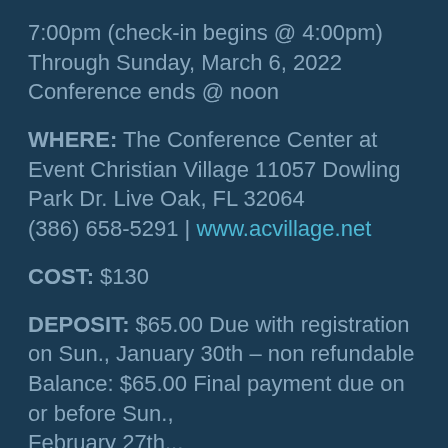7:00pm (check-in begins @ 4:00pm) Through Sunday, March 6, 2022 Conference ends @ noon
WHERE: The Conference Center at Event Christian Village 11057 Dowling Park Dr. Live Oak, FL 32064 (386) 658-5291 | www.acvillage.net
COST: $130
DEPOSIT: $65.00 Due with registration on Sun., January 30th – non refundable Balance: $65.00 Final payment due on or before Sun., February 27th